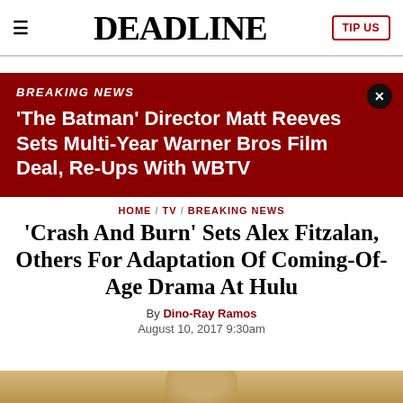DEADLINE
'The Batman' Director Matt Reeves Sets Multi-Year Warner Bros Film Deal, Re-Ups With WBTV
HOME / TV / BREAKING NEWS
'Crash And Burn' Sets Alex Fitzalan, Others For Adaptation Of Coming-Of-Age Drama At Hulu
By Dino-Ray Ramos
August 10, 2017 9:30am
[Figure (photo): Partial bottom of page showing beginning of an article image]